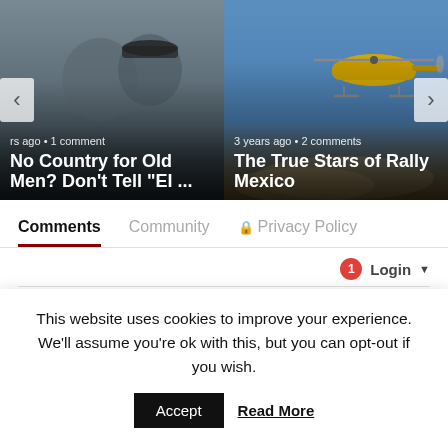[Figure (screenshot): Carousel with two article thumbnails. Left: people shaking hands with Red Bull cap, headline 'No Country for Old Men? Don't Tell "El ...', meta '...rs ago • 1 comment'. Right: yellow helicopter in blue sky, headline 'The True Stars of Rally Mexico', meta '3 years ago • 2 comments'. Navigation arrows on left and right edges.]
Comments	Community	🔒 Privacy Policy
1	Login ▼
♡ Favorite	Sort by Best ▼
This website uses cookies to improve your experience. We'll assume you're ok with this, but you can opt-out if you wish.
Accept	Read More